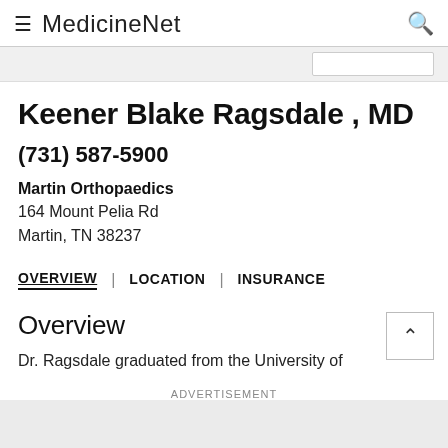MedicineNet
Keener Blake Ragsdale , MD
(731) 587-5900
Martin Orthopaedics
164 Mount Pelia Rd
Martin, TN 38237
OVERVIEW | LOCATION | INSURANCE
Overview
Dr. Ragsdale graduated from the University of